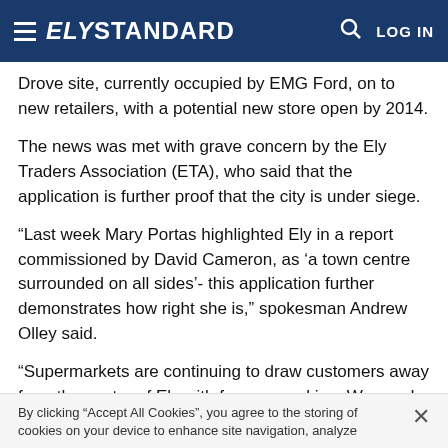ELY STANDARD
Drove site, currently occupied by EMG Ford, on to new retailers, with a potential new store open by 2014.
The news was met with grave concern by the Ely Traders Association (ETA), who said that the application is further proof that the city is under siege.
“Last week Mary Portas highlighted Ely in a report commissioned by David Cameron, as ‘a town centre surrounded on all sides’- this application further demonstrates how right she is,” spokesman Andrew Olley said.
“Supermarkets are continuing to draw customers away from the centre of Ely with free car parking. We need
By clicking “Accept All Cookies”, you agree to the storing of cookies on your device to enhance site navigation, analyze